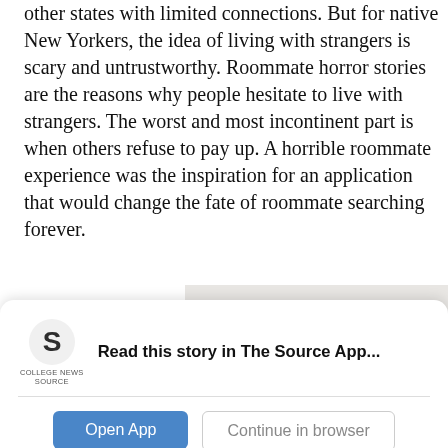other states with limited connections. But for native New Yorkers, the idea of living with strangers is scary and untrustworthy. Roommate horror stories are the reasons why people hesitate to live with strangers. The worst and most incontinent part is when others refuse to pay up. A horrible roommate experience was the inspiration for an application that would change the fate of roommate searching forever.
A series of unfortunate
[Figure (other): Advertisement banner with text 'Room Right.' in orange on a light gray background]
[Figure (logo): College News Source app logo — stylized 'S' in dark color with text 'COLLEGE NEWS SOURCE' below]
Read this story in The Source App...
Open App   Continue in browser